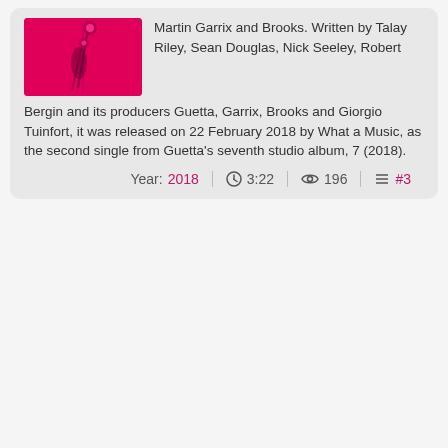[Figure (photo): Album art with pink/magenta background and a figure with flowers]
Martin Garrix and Brooks. Written by Talay Riley, Sean Douglas, Nick Seeley, Robert Bergin and its producers Guetta, Garrix, Brooks and Giorgio Tuinfort, it was released on 22 February 2018 by What a Music, as the second single from Guetta's seventh studio album, 7 (2018).
Year: 2018  3:22  196  #3